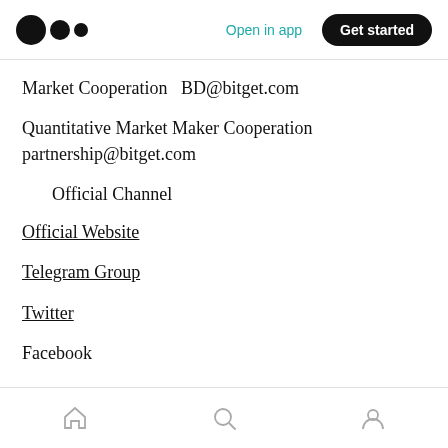Medium logo | Open in app | Get started
Market Cooperation  BD@bitget.com
Quantitative Market Maker Cooperation partnership@bitget.com
Official Channel
Official Website
Telegram Group
Twitter
Facebook
Home | Search | Profile